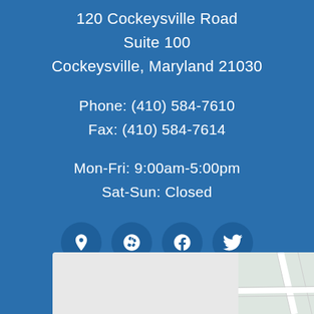120 Cockeysville Road
Suite 100
Cockeysville, Maryland 21030
Phone: (410) 584-7610
Fax: (410) 584-7614
Mon-Fri: 9:00am-5:00pm
Sat-Sun: Closed
[Figure (infographic): Four circular social media icon buttons: map pin (location), Yelp, Facebook, Twitter]
[Figure (map): Street map showing road layout near 120 Cockeysville Road]